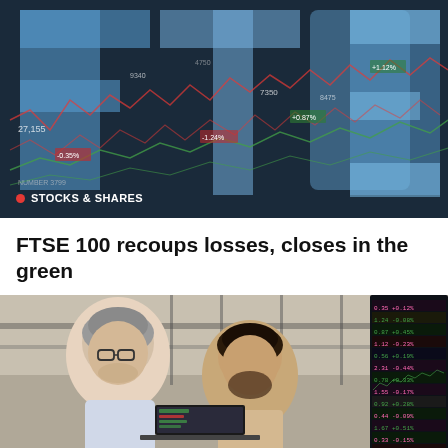[Figure (photo): FTSE stock market ticker board with large blue FTSE letters, overlaid with red and green stock chart data and price numbers]
STOCKS & SHARES
FTSE 100 recoups losses, closes in the green
[Figure (photo): Two men in an office reviewing financial data on a laptop, with a large stock market display screen showing green and pink trading data in the background]